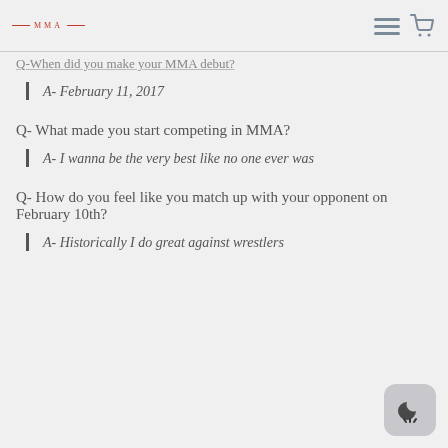MMA
Q-When did you make your MMA debut?
A- February 11, 2017
Q- What made you start competing in MMA?
A- I wanna be the very best like no one ever was
Q- How do you feel like you match up with your opponent on February 10th?
A- Historically I do great against wrestlers